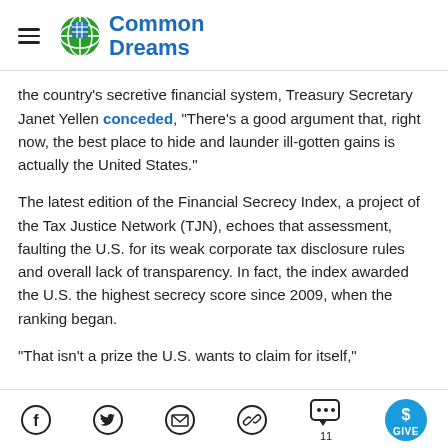Common Dreams
the country's secretive financial system, Treasury Secretary Janet Yellen conceded, "There's a good argument that, right now, the best place to hide and launder ill-gotten gains is actually the United States."
The latest edition of the Financial Secrecy Index, a project of the Tax Justice Network (TJN), echoes that assessment, faulting the U.S. for its weak corporate tax disclosure rules and overall lack of transparency. In fact, the index awarded the U.S. the highest secrecy score since 2009, when the ranking began.
"That isn't a prize the U.S. wants to claim for itself,"
Social share bar: Facebook, Twitter, Email, Link, Comments (11), GIVE